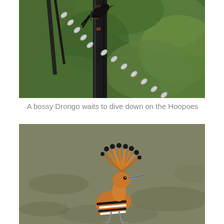[Figure (photo): A Drongo bird perched on a dark metal pole/fence post with a chain link, surrounded by green blurred foliage background]
A bossy Drongo waits to dive down on the Hoopoes
[Figure (photo): A Hoopoe bird with distinctive orange-brown fan-shaped crest with black tips, standing on grass/ground, with striped black and white body, long curved beak]